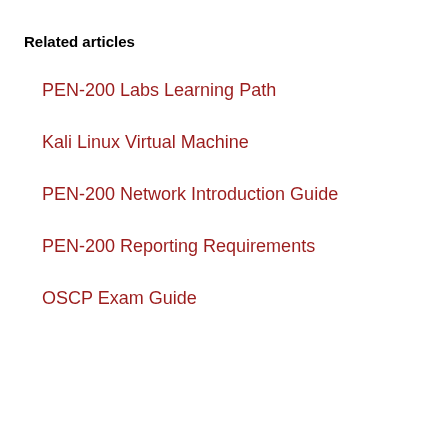Related articles
PEN-200 Labs Learning Path
Kali Linux Virtual Machine
PEN-200 Network Introduction Guide
PEN-200 Reporting Requirements
OSCP Exam Guide